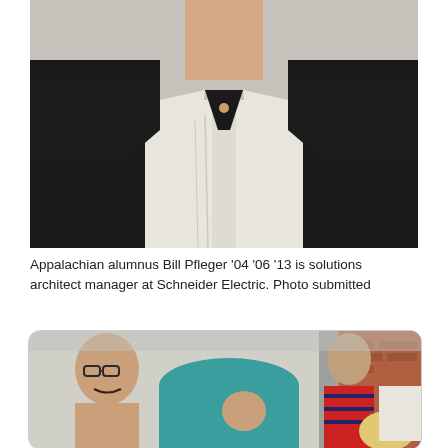[Figure (photo): Close-up photo of a person's torso wearing a dark blazer over an open-collar white dress shirt, cropped at the neck.]
Appalachian alumnus Bill Pfleger '04 '06 '13 is solutions architect manager at Schneider Electric. Photo submitted
[Figure (photo): Group of people gathered outdoors, one person wearing a teal/turquoise shirt leaning over, others standing behind including a man in a red striped shirt near a brick building.]